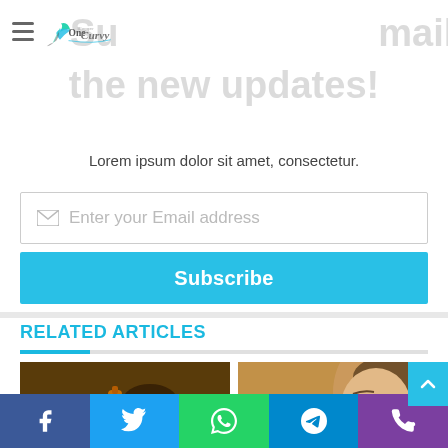[Figure (logo): OneCurvy Blogger logo with teal feather/quill icon]
Subscribe our mailing list to get the new updates!
Lorem ipsum dolor sit amet, consectetur.
Enter your Email address
Subscribe
RELATED ARTICLES
[Figure (photo): Close-up of hands with orange/gold lip gloss or cosmetic product]
[Figure (photo): Woman applying white face cream, light makeup, tan background]
[Figure (infographic): Social share bar with Facebook, Twitter, WhatsApp, Telegram, Phone icons]